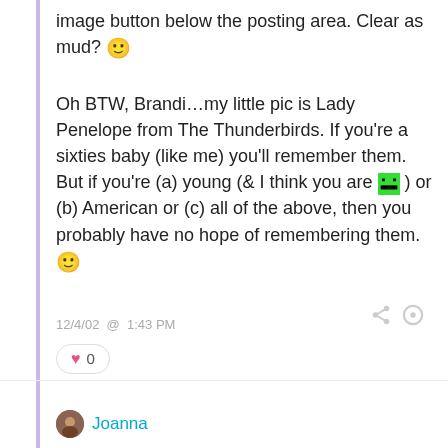image button below the posting area. Clear as mud? 🙂
Oh BTW, Brandi…my little pic is Lady Penelope from The Thunderbirds. If you're a sixties baby (like me) you'll remember them. But if you're (a) young (& I think you are 😄 ) or (b) American or (c) all of the above, then you probably have no hope of remembering them. 🙂
12/4/02  @  1:43 PM
0
Joanna
OK, let's give this a try.